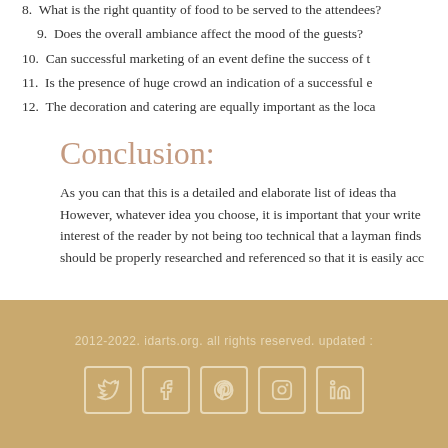8. What is the right quantity of food to be served to the attendees?
9. Does the overall ambiance affect the mood of the guests?
10. Can successful marketing of an event define the success of the event?
11. Is the presence of huge crowd an indication of a successful event?
12. The decoration and catering are equally important as the location.
Conclusion:
As you can that this is a detailed and elaborate list of ideas that... However, whatever idea you choose, it is important that your writing maintain the interest of the reader by not being too technical that a layman finds it difficult. It should be properly researched and referenced so that it is easily accessible.
2012-2022. idarts.org. all rights reserved. updated :